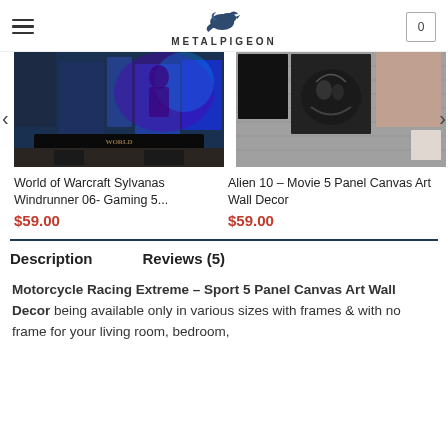METALPIGEON
[Figure (photo): World of Warcraft Sylvanas Windrunner 5 panel canvas wall art gaming setup]
World of Warcraft Sylvanas Windrunner 06- Gaming 5...
$59.00
[Figure (photo): Alien 10 Movie 5 Panel Canvas Art Wall Decor product photo on brick wall]
Alien 10 – Movie 5 Panel Canvas Art Wall Decor
$59.00
Description
Reviews (5)
Motorcycle Racing Extreme – Sport 5 Panel Canvas Art Wall Decor being available only in various sizes with frames & with no frame for your living room, bedroom,